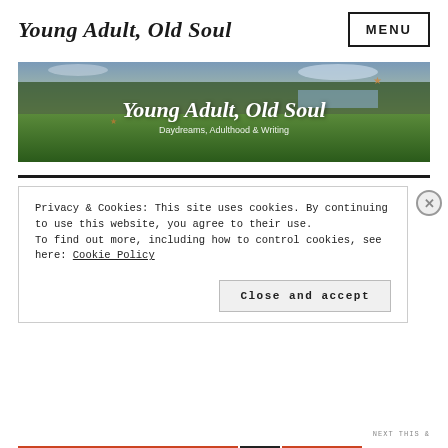Young Adult, Old Soul
[Figure (screenshot): MENU button in bordered box, top right of page header]
[Figure (photo): Blog banner image showing grassy landscape with trees and sky, text overlay 'Young Adult, Old Soul' in script with subtitle 'Daydreams, Adulthood & Writing']
Privacy & Cookies: This site uses cookies. By continuing to use this website, you agree to their use.
To find out more, including how to control cookies, see here: Cookie Policy
Close and accept